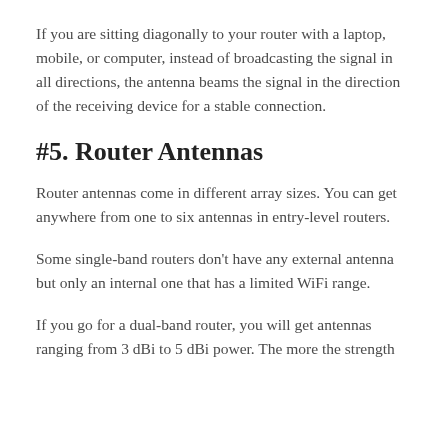If you are sitting diagonally to your router with a laptop, mobile, or computer, instead of broadcasting the signal in all directions, the antenna beams the signal in the direction of the receiving device for a stable connection.
#5. Router Antennas
Router antennas come in different array sizes. You can get anywhere from one to six antennas in entry-level routers.
Some single-band routers don't have any external antenna but only an internal one that has a limited WiFi range.
If you go for a dual-band router, you will get antennas ranging from 3 dBi to 5 dBi power. The more the strength